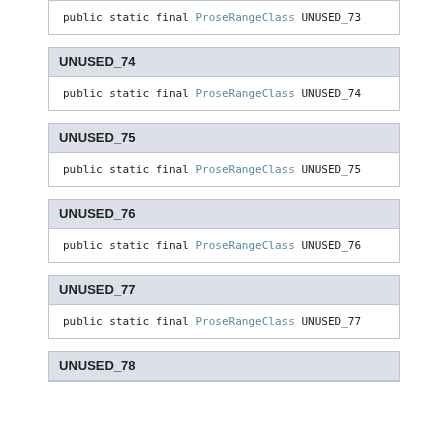public static final ProseRangeClass UNUSED_73
UNUSED_74
public static final ProseRangeClass UNUSED_74
UNUSED_75
public static final ProseRangeClass UNUSED_75
UNUSED_76
public static final ProseRangeClass UNUSED_76
UNUSED_77
public static final ProseRangeClass UNUSED_77
UNUSED_78